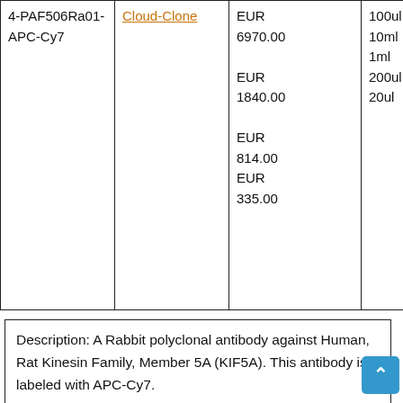| Product | Supplier | Price | Size |
| --- | --- | --- | --- |
| 4-PAF506Ra01-APC-Cy7 | Cloud-Clone | EUR 6970.00
EUR 1840.00
EUR 814.00
EUR 335.00 | 100ul
10ml
1ml
200ul
20ul |
Description: A Rabbit polyclonal antibody against Human, Rat Kinesin Family, Member 5A (KIF5A). This antibody is labeled with APC-Cy7.